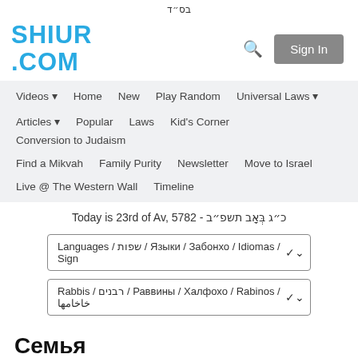בס״ד
SHIUR
.COM
Sign In
Videos
Home
New
Play Random
Universal Laws
Articles
Popular
Laws
Kid's Corner
Conversion to Judaism
Find a Mikvah
Family Purity
Newsletter
Move to Israel
Live @ The Western Wall
Timeline
Today is 23rd of Av, 5782 - כ״ג בְּאָב תשפ״ב
Languages / שפות / Языки / Забонхо / Idiomas / Sign ✓
Rabbis / רבנים / Раввины / Халфохо / Rabinos / خاخامها ✓
Семья